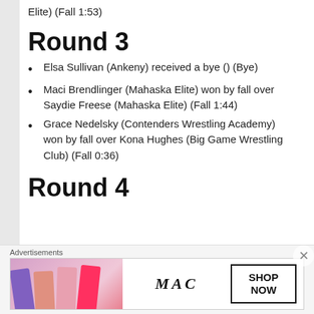Elite) (Fall 1:53)
Round 3
Elsa Sullivan (Ankeny) received a bye () (Bye)
Maci Brendlinger (Mahaska Elite) won by fall over Saydie Freese (Mahaska Elite) (Fall 1:44)
Grace Nedelsky (Contenders Wrestling Academy) won by fall over Kona Hughes (Big Game Wrestling Club) (Fall 0:36)
Round 4
Advertisements
[Figure (photo): MAC Cosmetics advertisement showing lipsticks with SHOP NOW button]